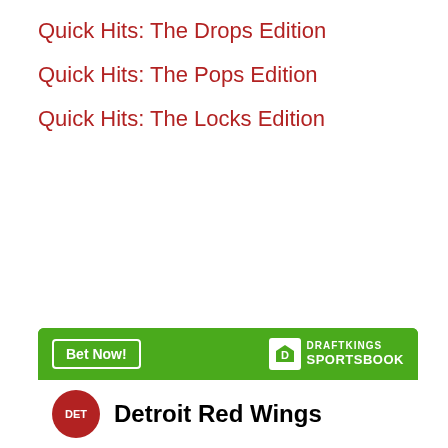Quick Hits: The Drops Edition
Quick Hits: The Pops Edition
Quick Hits: The Locks Edition
[Figure (infographic): DraftKings Sportsbook advertisement banner showing 'Bet Now!' button on green background with DraftKings Sportsbook logo, and Detroit Red Wings team entry with red circular DET logo and bold team name on white background.]